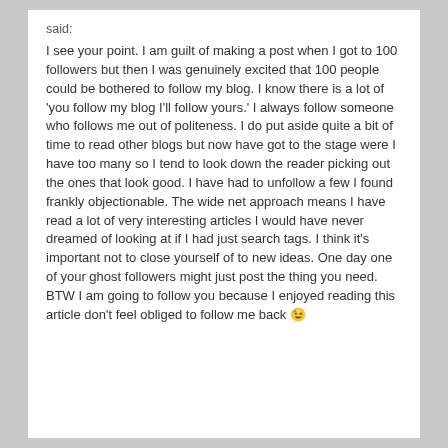said:
I see your point. I am guilt of making a post when I got to 100 followers but then I was genuinely excited that 100 people could be bothered to follow my blog. I know there is a lot of 'you follow my blog I'll follow yours.' I always follow someone who follows me out of politeness. I do put aside quite a bit of time to read other blogs but now have got to the stage were I have too many so I tend to look down the reader picking out the ones that look good. I have had to unfollow a few I found frankly objectionable. The wide net approach means I have read a lot of very interesting articles I would have never dreamed of looking at if I had just search tags. I think it's important not to close yourself of to new ideas. One day one of your ghost followers might just post the thing you need. BTW I am going to follow you because I enjoyed reading this article don't feel obliged to follow me back 😉